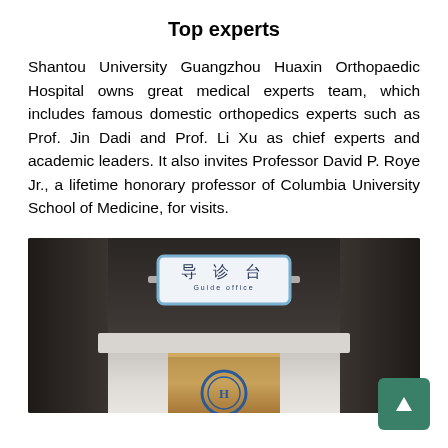Top experts
Shantou University Guangzhou Huaxin Orthopaedic Hospital owns great medical experts team, which includes famous domestic orthopedics experts such as Prof. Jin Dadi and Prof. Li Xu as chief experts and academic leaders. It also invites Professor David P. Roye Jr., a lifetime honorary professor of Columbia University School of Medicine, for visits.
[Figure (photo): Hospital guide office / information desk showing a blue-bordered sign with Chinese characters 导诊台 and English text 'Guide office', mounted above a wooden reception desk with a circular hospital logo emblem.]